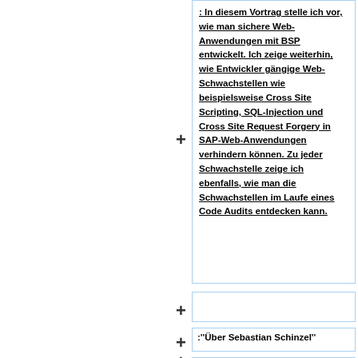: In diesem Vortrag stelle ich vor, wie man sichere Web-Anwendungen mit BSP entwickelt. Ich zeige weiterhin, wie Entwickler gängige Web-Schwachstellen wie beispielsweise Cross Site Scripting, SQL-Injection und Cross Site Request Forgery in SAP-Web-Anwendungen verhindern können. Zu jeder Schwachstelle zeige ich ebenfalls, wie man die Schwachstellen im Laufe eines Code Audits entdecken kann.
:''Über Sebastian Schinzel''